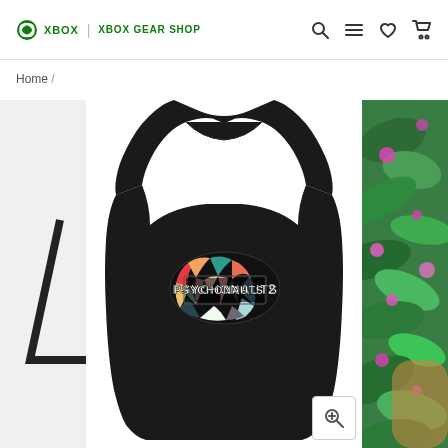XBOX | XBOX GEAR SHOP
Home /
[Figure (screenshot): Xbox Gear Shop product page showing a black Psychonauts 2 tank top with colorful brain logo on center chest, displayed on a carousel with partial views of other products on the left and right sides.]